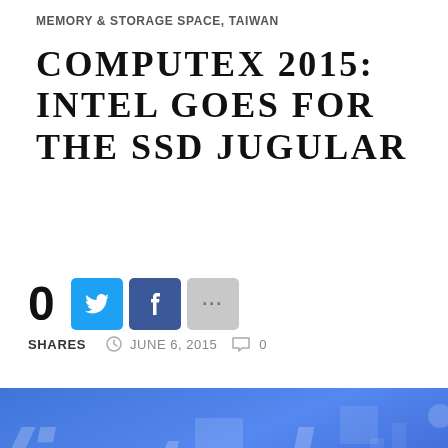MEMORY & STORAGE SPACE, TAIWAN
COMPUTEX 2015: INTEL GOES FOR THE SSD JUGULAR
[Figure (infographic): Social share count showing 0 shares with Twitter, Facebook, and more buttons, and date metadata June 6, 2015 with 0 comments]
[Figure (photo): Blue Intel logo banner photo showing partial Intel logo text in white on blue background]
This website uses cookies to improve your experience. We'll assume you're ok with this, but you can opt-out if you wish.
Accept  Read More